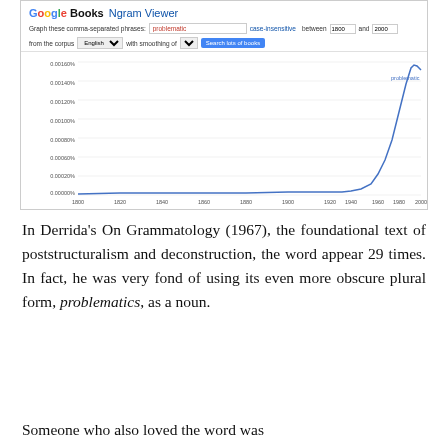[Figure (continuous-plot): Google Books Ngram Viewer screenshot showing the frequency of the word 'problematic' in English books from 1800 to 2000, with a dramatic exponential rise starting around 1960 and peaking around 2000.]
In Derrida's On Grammatology (1967), the foundational text of poststructuralism and deconstruction, the word appear 29 times. In fact, he was very fond of using its even more obscure plural form, problematics, as a noun.
Someone who also loved the word was